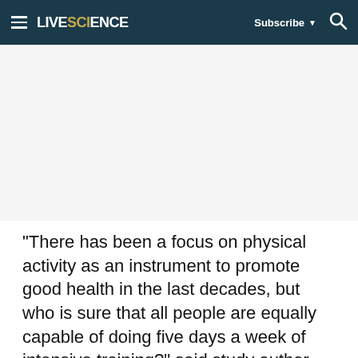≡ LIVESCIENCE  Subscribe ▼  🔍
[Figure (other): Advertisement or image placeholder area (white/light gray blank space)]
"There has been a focus on physical activity as an instrument to promote good health in the last decades, but who is sure that all people are equally capable of doing five days a week of intensive training?" said study author Koenraad Cuypers of the Norwegian University of Science and Technology in an